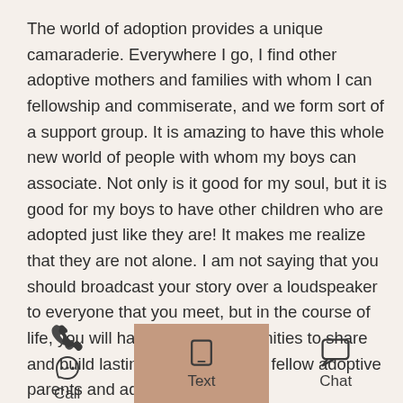The world of adoption provides a unique camaraderie. Everywhere I go, I find other adoptive mothers and families with whom I can fellowship and commiserate, and we form sort of a support group. It is amazing to have this whole new world of people with whom my boys can associate. Not only is it good for my soul, but it is good for my boys to have other children who are adopted just like they are! It makes me realize that they are not alone. I am not saying that you should broadcast your story over a loudspeaker to everyone that you meet, but in the course of life, you will have ample opportunities to share and build lasting friendships with fellow adoptive parents and adoptees.

As I watch my children play with the neighborhood children in our g… …nce again…
Call | Text | Chat